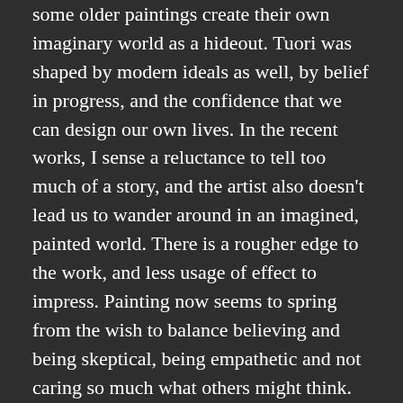dialogue with a romantic conception of art. The figures in some older paintings create their own imaginary world as a hideout. Tuori was shaped by modern ideals as well, by belief in progress, and the confidence that we can design our own lives. In the recent works, I sense a reluctance to tell too much of a story, and the artist also doesn't lead us to wander around in an imagined, painted world. There is a rougher edge to the work, and less usage of effect to impress. Painting now seems to spring from the wish to balance believing and being skeptical, being empathetic and not caring so much what others might think. You just need to be alert, open, and flexible. Tuori's figures appear to be in a permanent process of loosening up. They are as restless as I could hope for.
–Jurriaan Benschop
This text was published in the catalog of the exhibition Anna Tuori 'Never seen a Bag Exploding,' scheduled to